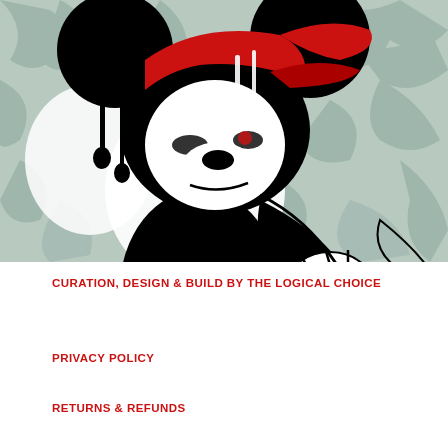[Figure (illustration): Stylized cartoon illustration of Mickey Mouse rendered in black, white, and red street-art graffiti style. The character has dripping black paint effects on its head/ears, wears a red hat, and is posed against a background of grey graffiti lettering/tags.]
CURATION, DESIGN & BUILD BY THE LOGICAL CHOICE
PRIVACY POLICY
RETURNS & REFUNDS